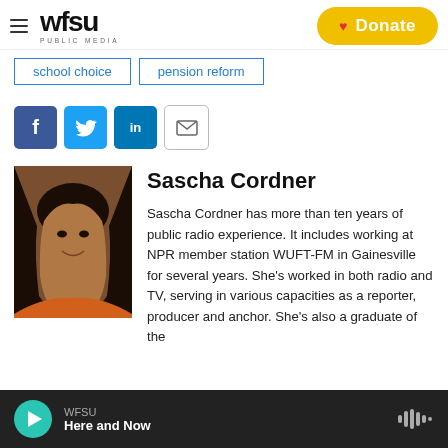[Figure (logo): WFSU Public Media logo with hamburger menu icon on the left and yellow Donate button with red heart on the right]
school choice
pension reform
[Figure (infographic): Social sharing icons: Facebook (blue), Twitter (blue), LinkedIn (blue), Email (outlined)]
[Figure (photo): Headshot photo of Sascha Cordner, a woman with long dark curly hair wearing an orange top, smiling]
Sascha Cordner
Sascha Cordner has more than ten years of public radio experience. It includes working at NPR member station WUFT-FM in Gainesville for several years. She's worked in both radio and TV, serving in various capacities as a reporter, producer and anchor. She's also a graduate of the
WFSU
Here and Now